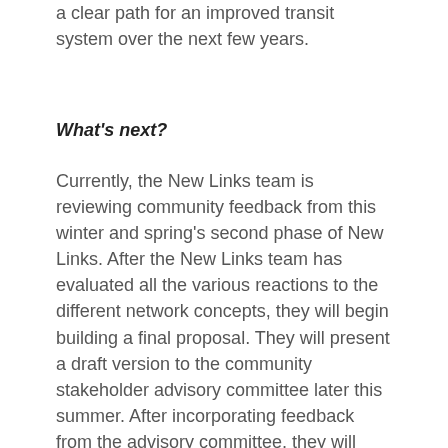a clear path for an improved transit system over the next few years.
What's next?
Currently, the New Links team is reviewing community feedback from this winter and spring's second phase of New Links. After the New Links team has evaluated all the various reactions to the different network concepts, they will begin building a final proposal. They will present a draft version to the community stakeholder advisory committee later this summer. After incorporating feedback from the advisory committee, they will release a formal proposal to the RTA and JeT, likely in September.